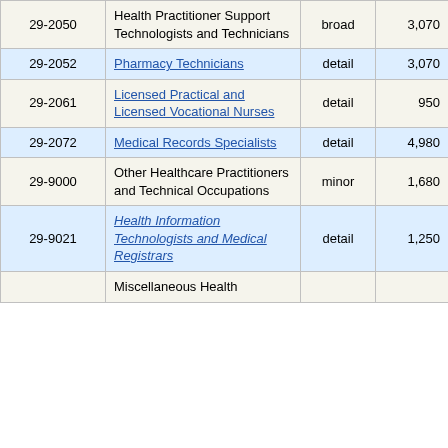| Code | Occupation | Type | Employment | Growth% |
| --- | --- | --- | --- | --- |
| 29-2050 | Health Practitioner Support Technologists and Technicians | broad | 3,070 | 7.9% |
| 29-2052 | Pharmacy Technicians | detail | 3,070 | 7.9% |
| 29-2061 | Licensed Practical and Licensed Vocational Nurses | detail | 950 | 8.5% |
| 29-2072 | Medical Records Specialists | detail | 4,980 | 4.9% |
| 29-9000 | Other Healthcare Practitioners and Technical Occupations | minor | 1,680 | 15.3% |
| 29-9021 | Health Information Technologists and Medical Registrars | detail | 1,250 | 16.1% |
|  | Miscellaneous Health |  |  |  |